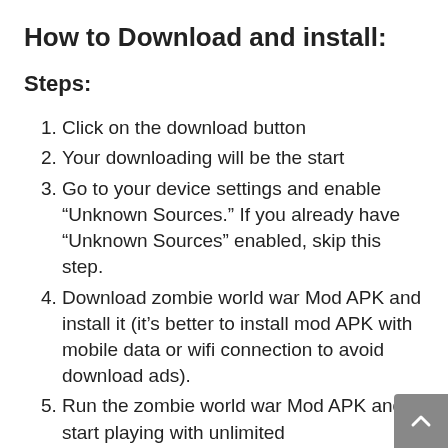How to Download and install:
Steps:
Click on the download button
Your downloading will be the start
Go to your device settings and enable “Unknown Sources.” If you already have “Unknown Sources” enabled, skip this step.
Download zombie world war Mod APK and install it (it’s better to install mod APK with mobile data or wifi connection to avoid download ads).
Run the zombie world war Mod APK and start playing with unlimited